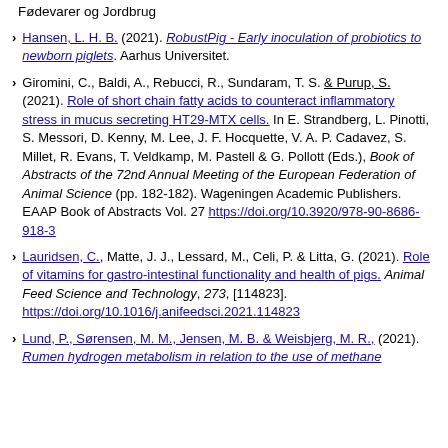Fødevarer og Jordbrug
Hansen, L. H. B. (2021). RobustPig - Early inoculation of probiotics to newborn piglets. Aarhus Universitet.
Giromini, C., Baldi, A., Rebucci, R., Sundaram, T. S. & Purup, S. (2021). Role of short chain fatty acids to counteract inflammatory stress in mucus secreting HT29-MTX cells. In E. Strandberg, L. Pinotti, S. Messori, D. Kenny, M. Lee, J. F. Hocquette, V. A. P. Cadavez, S. Millet, R. Evans, T. Veldkamp, M. Pastell & G. Pollott (Eds.), Book of Abstracts of the 72nd Annual Meeting of the European Federation of Animal Science (pp. 182-182). Wageningen Academic Publishers. EAAP Book of Abstracts Vol. 27 https://doi.org/10.3920/978-90-8686-918-3
Lauridsen, C., Matte, J. J., Lessard, M., Celi, P. & Litta, G. (2021). Role of vitamins for gastro-intestinal functionality and health of pigs. Animal Feed Science and Technology, 273, [114823]. https://doi.org/10.1016/j.anifeedsci.2021.114823
Lund, P., Sørensen, M. M., Jensen, M. B. & Weisbjerg, M. R., (2021). Rumen hydrogen metabolism in relation to the use of methane